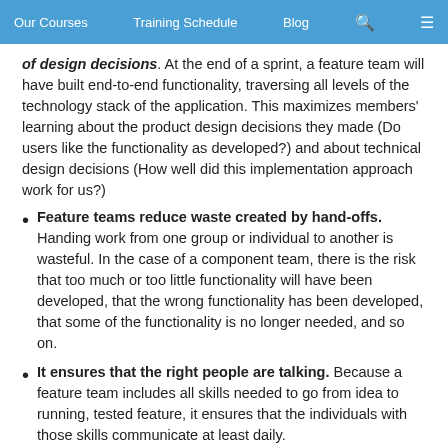Our Courses | Training Schedule | Blog
of design decisions. At the end of a sprint, a feature team will have built end-to-end functionality, traversing all levels of the technology stack of the application. This maximizes members' learning about the product design decisions they made (Do users like the functionality as developed?) and about technical design decisions (How well did this implementation approach work for us?)
Feature teams reduce waste created by hand-offs. Handing work from one group or individual to another is wasteful. In the case of a component team, there is the risk that too much or too little functionality will have been developed, that the wrong functionality has been developed, that some of the functionality is no longer needed, and so on.
It ensures that the right people are talking. Because a feature team includes all skills needed to go from idea to running, tested feature, it ensures that the individuals with those skills communicate at least daily.